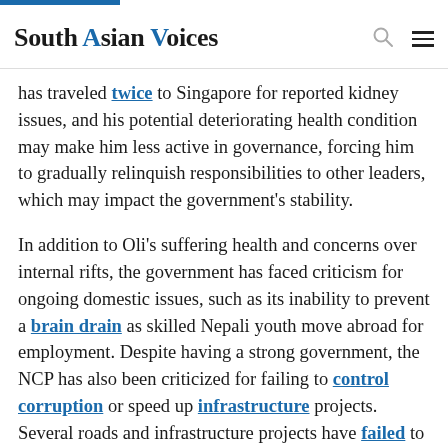South Asian Voices
has traveled twice to Singapore for reported kidney issues, and his potential deteriorating health condition may make him less active in governance, forcing him to gradually relinquish responsibilities to other leaders, which may impact the government's stability.
In addition to Oli's suffering health and concerns over internal rifts, the government has faced criticism for ongoing domestic issues, such as its inability to prevent a brain drain as skilled Nepali youth move abroad for employment. Despite having a strong government, the NCP has also been criticized for failing to control corruption or speed up infrastructure projects. Several roads and infrastructure projects have failed to make a headway and performance of government will be measured through its capacity to deliver on much needed infrastructure projects